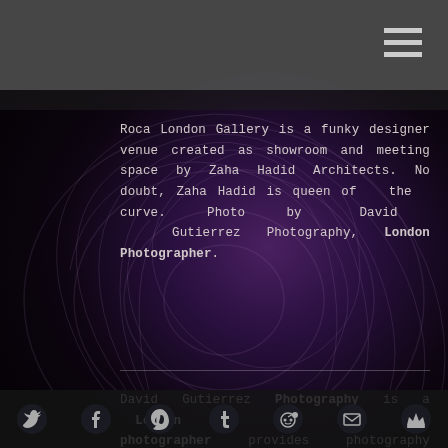[Figure (photo): Dark spiral staircase with purple tones, architectural photography of Roca London Gallery designed by Zaha Hadid Architects]
Roca London Gallery is a funky designer venue created as showroom and meeting space by Zaha Hadid Architects. No doubt, Zaha Hadid is queen of the curve. Photo by David Gutierrez Photography, London Photographer.
David Gutierrez Photography is a London photographer provides photography services and images for the corporate, editorial and advertising market. Specialises in architectural photography, real estate, property, interior, urban, modern design, cityscape and night photography. London based photographer offers a variety of professional photography services to businesses and individuals which are designed to affordable at all times.
Social share icons: Twitter, Facebook, Pinterest, Tumblr, Reddit, Email, Crown